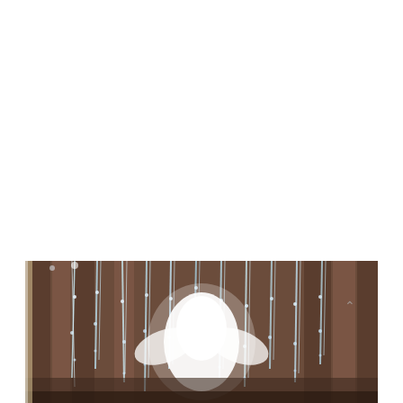[Figure (photo): A partially visible photograph at the bottom of the page showing an indoor scene with dark brown curtains or draping fabric in the background, hanging strands of crystals or icicle-like decorations in light blue/white tones, and what appears to be a figure or statue in white/light colors in the center. The image is cropped and shows only the lower portion.]